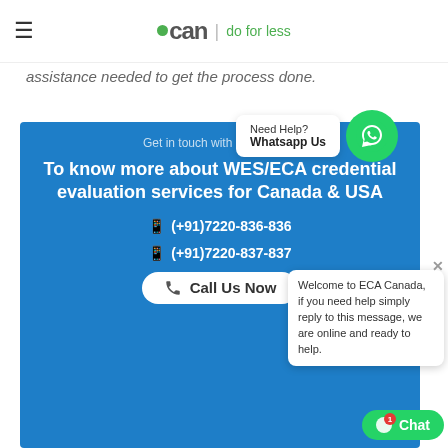ecan | do for less
assistance needed to get the process done.
[Figure (other): WhatsApp help bubble: Need Help? Whatsapp Us, with WhatsApp icon]
Get in touch with our Experts
To know more about WES/ECA credential evaluation services for Canada & USA
(+91)7220-836-836
(+91)7220-837-837
Call Us Now
Welcome to ECA Canada, if you need help simply reply to this message, we are online and ready to help.
Chat 1